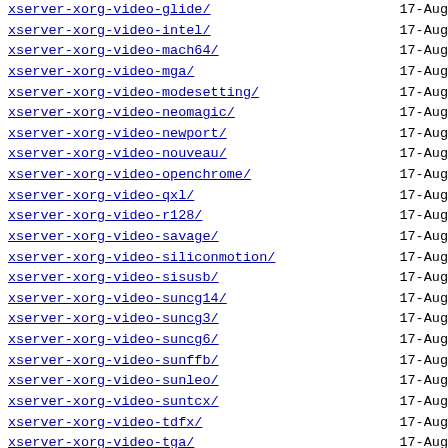xserver-xorg-video-glide/   17-Aug
xserver-xorg-video-intel/   17-Aug
xserver-xorg-video-mach64/  17-Aug
xserver-xorg-video-mga/     17-Aug
xserver-xorg-video-modesetting/ 17-Aug
xserver-xorg-video-neomagic/ 17-Aug
xserver-xorg-video-newport/ 17-Aug
xserver-xorg-video-nouveau/ 17-Aug
xserver-xorg-video-openchrome/ 17-Aug
xserver-xorg-video-qxl/     17-Aug
xserver-xorg-video-r128/    17-Aug
xserver-xorg-video-savage/  17-Aug
xserver-xorg-video-siliconmotion/ 17-Aug
xserver-xorg-video-sisusb/ 17-Aug
xserver-xorg-video-suncg14/ 17-Aug
xserver-xorg-video-suncg3/  17-Aug
xserver-xorg-video-suncg6/  17-Aug
xserver-xorg-video-sunffb/  17-Aug
xserver-xorg-video-sunleo/  17-Aug
xserver-xorg-video-suntcx/  17-Aug
xserver-xorg-video-tdfx/    17-Aug
xserver-xorg-video-tga/     17-Aug
xserver-xorg-video-trident/ 17-Aug
xserver-xorg-video-vesa/    17-Aug
xserver-xorg-video-vmware/  17-Aug
xsettings-kde/              17-Aug
xsettingsd/                 17-Aug
xshisen/                    17-Aug
xshogi/                     17-Aug
xsidplay/                   17-Aug